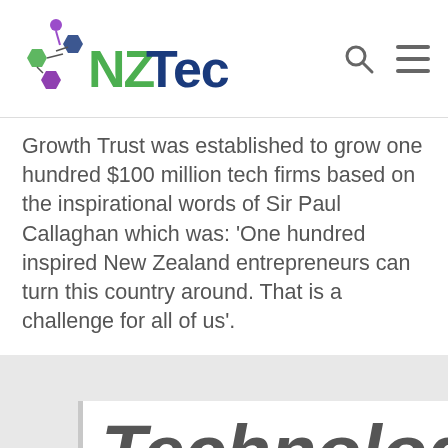NZTech
Growth Trust was established to grow one hundred $100 million tech firms based on the inspirational words of Sir Paul Callaghan which was: ‘One hundred inspired New Zealand entrepreneurs can turn this country around. That is a challenge for all of us’.
Technology is New Zealand's